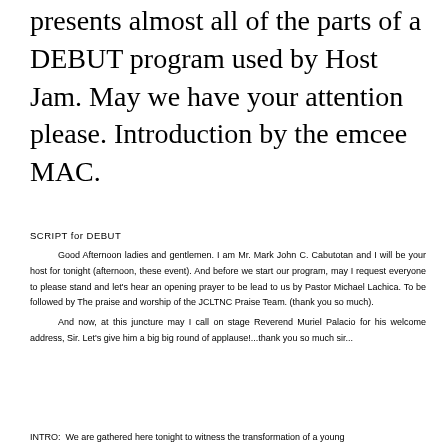presents almost all of the parts of a DEBUT program used by Host Jam. May we have your attention please. Introduction by the emcee MAC.
SCRIPT for DEBUT
Good Afternoon ladies and gentlemen. I am Mr. Mark John C. Cabutotan and I will be your host for tonight (afternoon, these event). And before we start our program, may I request everyone to please stand and let's hear an opening prayer to be lead to us by Pastor Michael Lachica. To be followed by The praise and worship of the JCLTNC Praise Team. (thank you so much).
And now, at this juncture may I call on stage Reverend Muriel Palacio for his welcome address, Sir. Let's give him a big big round of applause!...thank you so much sir...
INTRO:  We are gathered here tonight to witness the transformation of a young